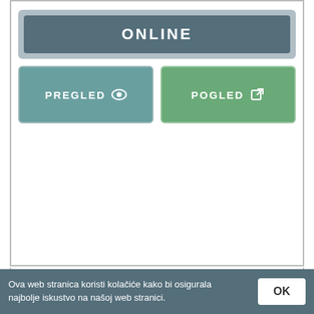[Figure (screenshot): UI card with ONLINE status button in dark gray, and two action buttons: PREGLED (teal) and POGLED (green)]
APPEARANCE - TRIALS IN TAINTED SPACE WIKI - SMUTOSAUR.US WIKI INDEX
https://wiki.smutosaur.us/TiTS/Appearance
6 Jun 2020 ... There are several scores and body parts that alter the captain's description, potentially
Ova web stranica koristi kolačiće kako bi osigurala najbolje iskustvo na našoj web stranici.